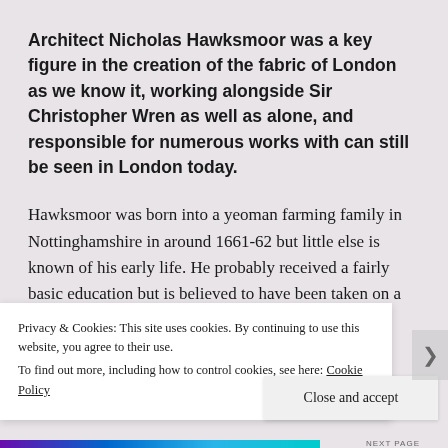Architect Nicholas Hawksmoor was a key figure in the creation of the fabric of London as we know it, working alongside Sir Christopher Wren as well as alone, and responsible for numerous works with can still be seen in London today.
Hawksmoor was born into a yeoman farming family in Nottinghamshire in around 1661-62 but little else is known of his early life. He probably received a fairly basic education but is believed to have been taken on a clerk to a justice in Yorkshire before, thanks to encountering a decorative plasterer by the name of
Privacy & Cookies: This site uses cookies. By continuing to use this website, you agree to their use.
To find out more, including how to control cookies, see here: Cookie Policy
Close and accept